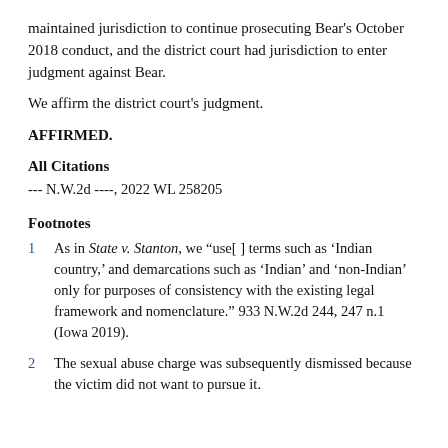maintained jurisdiction to continue prosecuting Bear's October 2018 conduct, and the district court had jurisdiction to enter judgment against Bear.
We affirm the district court's judgment.
AFFIRMED.
All Citations
--- N.W.2d ----, 2022 WL 258205
Footnotes
1  As in State v. Stanton, we "use[ ] terms such as 'Indian country,' and demarcations such as 'Indian' and 'non-Indian' only for purposes of consistency with the existing legal framework and nomenclature." 933 N.W.2d 244, 247 n.1 (Iowa 2019).
2  The sexual abuse charge was subsequently dismissed because the victim did not want to pursue it.